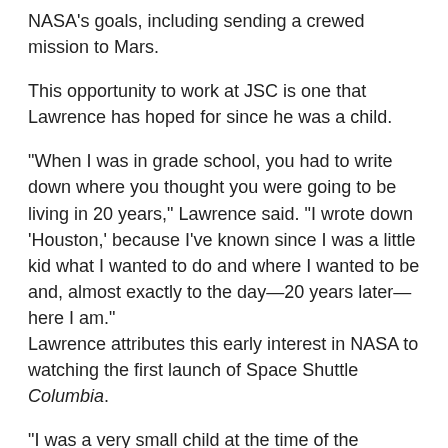NASA's goals, including sending a crewed mission to Mars.
This opportunity to work at JSC is one that Lawrence has hoped for since he was a child.
“When I was in grade school, you had to write down where you thought you were going to be living in 20 years,” Lawrence said. “I wrote down ‘Houston,’ because I’ve known since I was a little kid what I wanted to do and where I wanted to be and, almost exactly to the day—20 years later—here I am.”
Lawrence attributes this early interest in NASA to watching the first launch of Space Shuttle Columbia.
“I was a very small child at the time of the launch,” Lawrence said. “It’s one of my earliest memories, but something just clicked. I knew from that moment that that was how I was going to spend my life.”